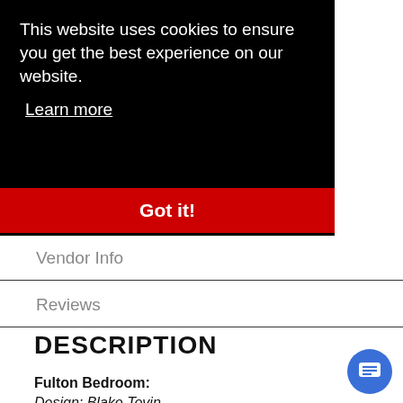This website uses cookies to ensure you get the best experience on our website. Learn more
Got it!
Vendor Info
Reviews
DESCRIPTION
Fulton Bedroom:
Design: Blake Tovin
West Bros Furniture takes great pride in crafting some of the finest bedroom furniture available. Each piece of West Bros furniture is made with